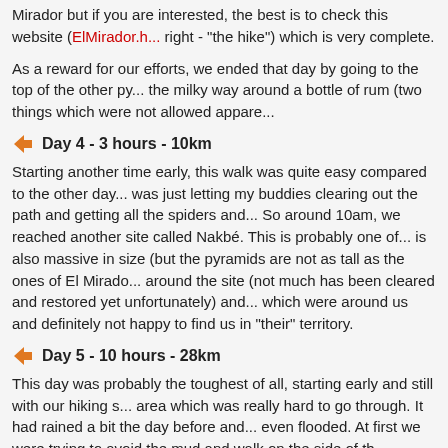Mirador but if you are interested, the best is to check this website (ElMirador.h... right - "the hike") which is very complete.
As a reward for our efforts, we ended that day by going to the top of the other py... the milky way around a bottle of rum (two things which were not allowed appare...
Day 4 - 3 hours - 10km
Starting another time early, this walk was quite easy compared to the other day... was just letting my buddies clearing out the path and getting all the spiders and... So around 10am, we reached another site called Nakbé. This is probably one of... is also massive in size (but the pyramids are not as tall as the ones of El Mirado... around the site (not much has been cleared and restored yet unfortunately) and... which were around us and definitely not happy to find us in "their" territory.
Day 5 - 10 hours - 28km
This day was probably the toughest of all, starting early and still with our hiking s... area which was really hard to go through. It had rained a bit the day before and... even flooded. At first we were trying to avoid the mud and walk on the side of th... wouldn't be enough and at that point I think all of us regretted not to have taken... on the mules... Anyway we all became wet with water above our ankles (or more... everything dried up quickly.
The other annoying things were the mosquitoes that day. Usually it would be fine... following you and are not really a bother. But that time for lunch, we had to stop... for us to have their "lunch" as well... 😀